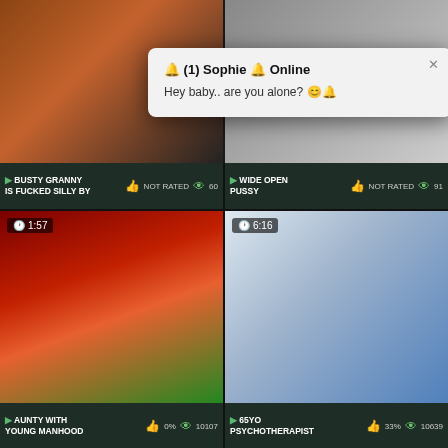[Figure (screenshot): Adult video website screenshot showing video thumbnails grid with popup notification]
🔔 (1) Sophie 🔔 Online
Hey baby.. are you alone? 😊🔔
▶ BUSTY GRANNY IS FUCKED SILLY BY  NOT RATED  60
▶ WIDE OPEN PUSSY  NOT RATED  91
1:57
6:16
▶ AUNTY WITH YOUNG MANHOOD  0%  10107
▶ 65YO PSYCHOTHERAPIST  33%  10639
4:38
5:58